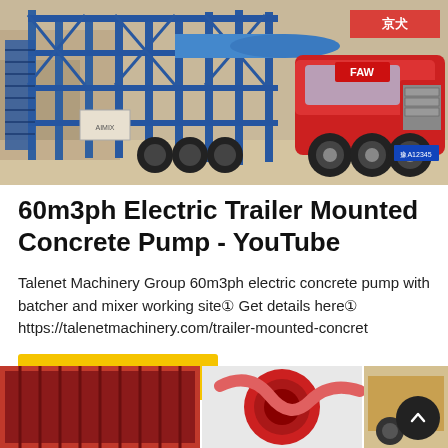[Figure (photo): A blue industrial trailer-mounted concrete pump/batching plant loaded on a red FAW truck, photographed outdoors on a paved lot with brick buildings in background.]
60m3ph Electric Trailer Mounted Concrete Pump - YouTube
Talenet Machinery Group 60m3ph electric concrete pump with batcher and mixer working site① Get details here① https://talenetmachinery.com/trailer-mounted-concret
Learn More
[Figure (photo): Bottom strip showing partial images of red industrial machinery components.]